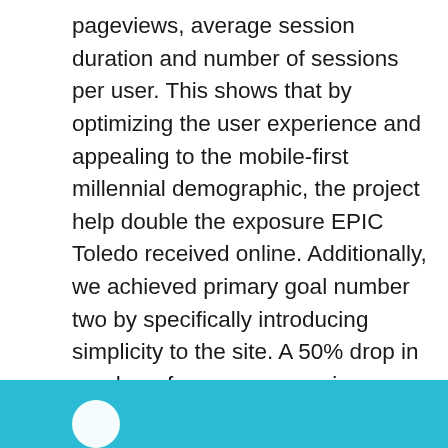pageviews, average session duration and number of sessions per user. This shows that by optimizing the user experience and appealing to the mobile-first millennial demographic, the project help double the exposure EPIC Toledo received online. Additionally, we achieved primary goal number two by specifically introducing simplicity to the site. A 50% drop in number of pages per session, showcases the ease of use of the design and users getting to the information that they want more efficiently.